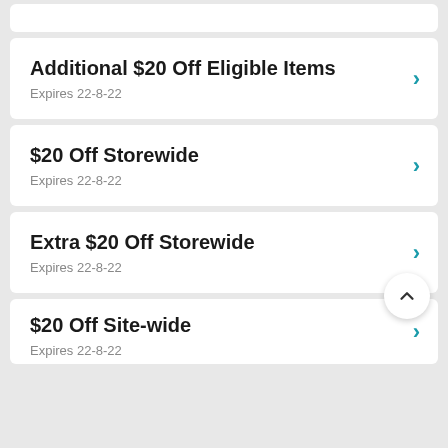Additional $20 Off Eligible Items
Expires 22-8-22
$20 Off Storewide
Expires 22-8-22
Extra $20 Off Storewide
Expires 22-8-22
$20 Off Site-wide
Expires 22-8-22